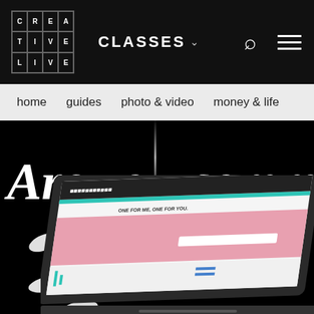[Figure (logo): CreativeLive logo grid with letters C, R, E, A, T, I, V, E, L, I, V, E arranged in a 4x3 grid]
CLASSES ˅
🔍
≡
home   guides   photo & video   money & life
[Figure (screenshot): Hero banner with script text reading 'Are you comm' on black background with laptop showing CreativeLive website]